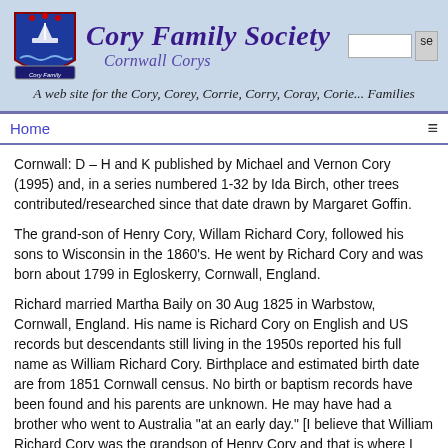Cory Family Society — Cornwall Corys — A web site for the Cory, Corey, Corrie, Corry, Coray, Corie... Families
Cornwall: D – H and K published by Michael and Vernon Cory (1995) and, in a series numbered 1-32 by Ida Birch, other trees contributed/researched since that date drawn by Margaret Goffin.
The grand-son of Henry Cory, Willam Richard Cory, followed his sons to Wisconsin in the 1860's. He went by Richard Cory and was born about 1799 in Egloskerry, Cornwall, England.
Richard married Martha Baily on 30 Aug 1825 in Warbstow, Cornwall, England. His name is Richard Cory on English and US records but descendants still living in the 1950s reported his full name as William Richard Cory. Birthplace and estimated birth date are from 1851 Cornwall census. No birth or baptism records have been found and his parents are unknown. He may have had a brother who went to Australia "at an early day." [I believe that William Richard Cory was the grandson of Henry Cory and that is where I placed him in the Cornwall database.]
Their ten children were born in Warbstow Parish and baptized as Bible